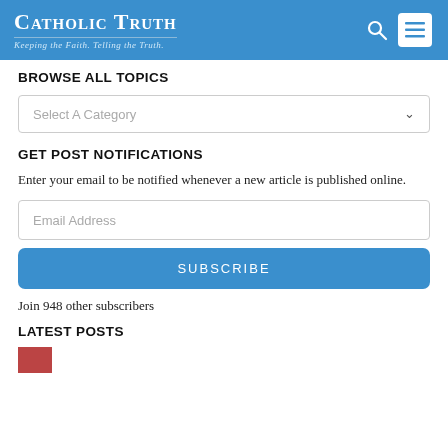Catholic Truth – Keeping the Faith. Telling the Truth.
BROWSE ALL TOPICS
Select A Category
GET POST NOTIFICATIONS
Enter your email to be notified whenever a new article is published online.
Email Address
SUBSCRIBE
Join 948 other subscribers
LATEST POSTS